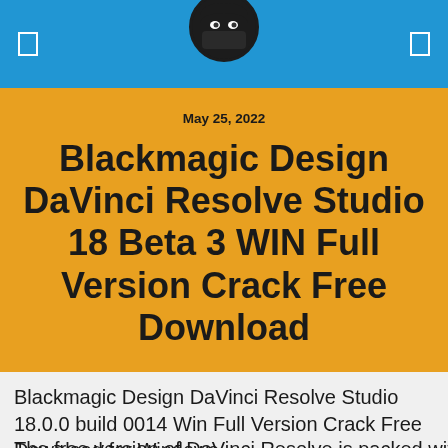May 25, 2022
Blackmagic Design DaVinci Resolve Studio 18 Beta 3 WIN Full Version Crack Free Download
Blackmagic Design DaVinci Resolve Studio 18.0.0 build 0014 Win Full Version Crack Free Download for Windows
The free version of DaVinci Resolve is packed with